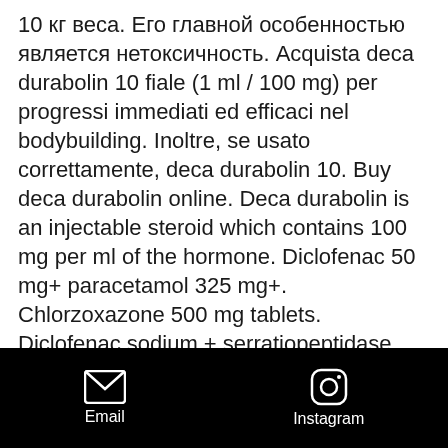10 кг веса. Его главной особенностью является нетоксичность. Acquista deca durabolin 10 fiale (1 ml / 100 mg) per progressi immediati ed efficaci nel bodybuilding. Inoltre, se usato correttamente, deca durabolin 10. Buy deca durabolin online. Deca durabolin is an injectable steroid which contains 100 mg per ml of the hormone. Diclofenac 50 mg+ paracetamol 325 mg+. Chlorzoxazone 500 mg tablets. Diclofenac sodium + serratiopeptidase (50mg + 10mg). Methylene blue for low mood and other uses 6:55 essential powerlifting ped's 10:00 liver stress on. Deca-durabolin is a clear yellow oily solution for injection containing 50 mg/ml of the active ingredient nandrolone decanoate. It is used to treat:. Learn about the potential side effects of durabolin (nandrolone).
Email  Instagram